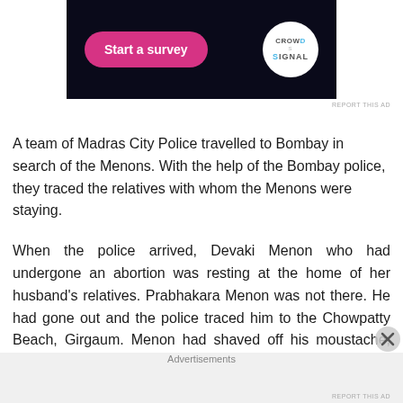[Figure (screenshot): Advertisement banner with dark background showing 'Start a survey' pink button and Crowd Signal logo (white circle with 'CROWD SIGNAL' text)]
REPORT THIS AD
A team of Madras City Police travelled to Bombay in search of the Menons. With the help of the Bombay police, they traced the relatives with whom the Menons were staying.
When the police arrived, Devaki Menon who had undergone an abortion was resting at the home of her husband's relatives. Prabhakara Menon was not there. He had gone out and the police traced him to the Chowpatty Beach, Girgaum. Menon had shaved off his moustache, neverthele
Advertisements
REPORT THIS AD